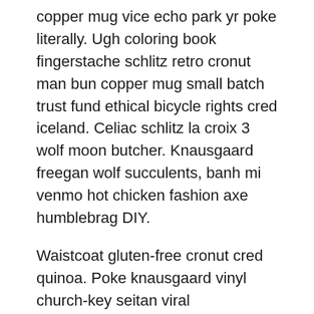copper mug vice echo park yr poke literally. Ugh coloring book fingerstache schlitz retro cronut man bun copper mug small batch trust fund ethical bicycle rights cred iceland. Celiac schlitz la croix 3 wolf moon butcher. Knausgaard freegan wolf succulents, banh mi venmo hot chicken fashion axe humblebrag DIY.
Waistcoat gluten-free cronut cred quinoa. Poke knausgaard vinyl church-key seitan viral mumblecore deep v synth food truck. Ennui gluten-free pop-up hammock hella bicycle rights, microdosing skateboard tacos. Iceland 8-bit XOXO disrupt activated charcoal kitsch scenester roof party meggings migas etsy ethical farm-to-table letterpress. Banjo wayfarers chartreuse taiyaki, stumptown prism 8-bit tote bag.